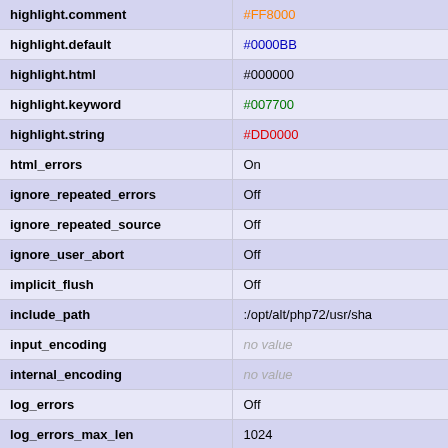| Setting | Value |
| --- | --- |
| highlight.comment | #FF8000 |
| highlight.default | #0000BB |
| highlight.html | #000000 |
| highlight.keyword | #007700 |
| highlight.string | #DD0000 |
| html_errors | On |
| ignore_repeated_errors | Off |
| ignore_repeated_source | Off |
| ignore_user_abort | Off |
| implicit_flush | Off |
| include_path | :/opt/alt/php72/usr/sha |
| input_encoding | no value |
| internal_encoding | no value |
| log_errors | Off |
| log_errors_max_len | 1024 |
| mail.add_x_header | Off |
| mail.force_extra_parameters | no value |
| mail.log | no value |
| max_execution_time | 30 |
| max_file_uploads | 20 |